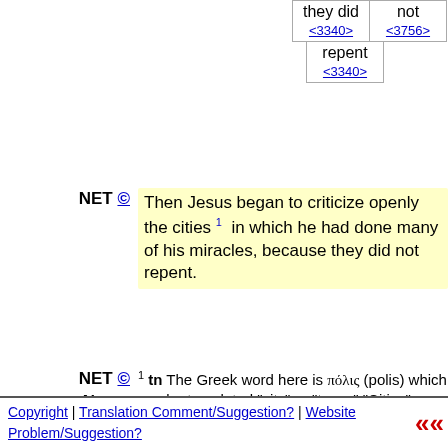| they did
<3340> | not
<3756> |
| repent
<3340> |  |
NET © Then Jesus began to criticize openly the cities 1 in which he had done many of his miracles, because they did not repent.
NET © Notes 1 tn The Greek word here is πόλις (polis) which can be translated "city" or "town." "Cities" was chosen here to emphasize the size of the places Jesus' mentions in the following verses.
Copyright | Translation Comment/Suggestion? | Website Problem/Suggestion?